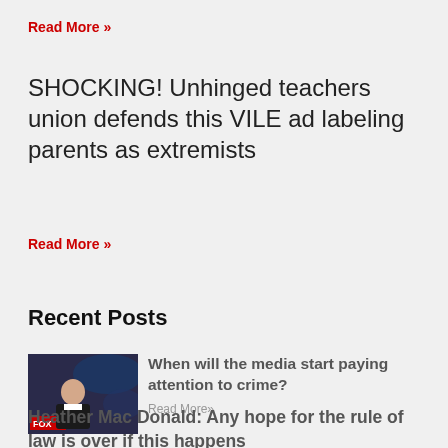Read More »
SHOCKING! Unhinged teachers union defends this VILE ad labeling parents as extremists
Read More »
Recent Posts
[Figure (photo): Thumbnail image of a man in a black jacket on a Fox News set with dark blue background]
When will the media start paying attention to crime?
Read More »
Heather Mac Donald: Any hope for the rule of law is over if this happens